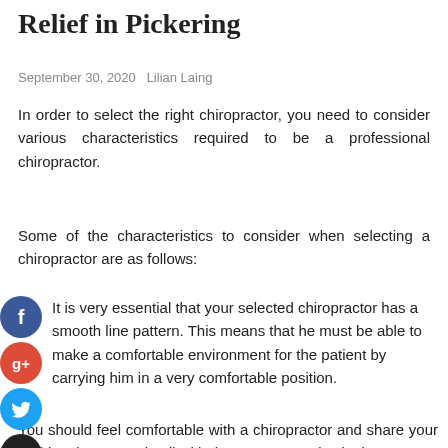Relief in Pickering
September 30, 2020   Lilian Laing
In order to select the right chiropractor, you need to consider various characteristics required to be a professional chiropractor.
Some of the characteristics to consider when selecting a chiropractor are as follows:
It is very essential that your selected chiropractor has a smooth line pattern. This means that he must be able to make a comfortable environment for the patient by carrying him in a very comfortable position.
You should feel comfortable with a chiropractor and share your problem in proper detail with them. You can also look